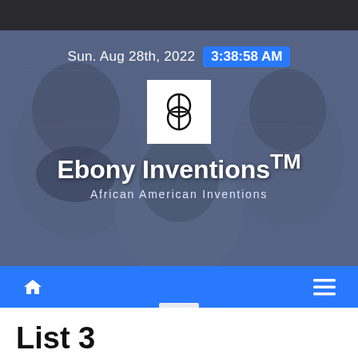Sun. Aug 28th, 2022  3:38:58 AM
[Figure (illustration): Ebony Inventions website hero banner with historical black-and-white portraits of African American inventors in the background, a white logo box with an abstract interlocking rings symbol, the text 'Ebony Inventions™' in bold white, and subtitle 'African American Inventions']
[Figure (other): Blue navigation bar with a home icon on the left and a hamburger menu icon in the center]
List 3